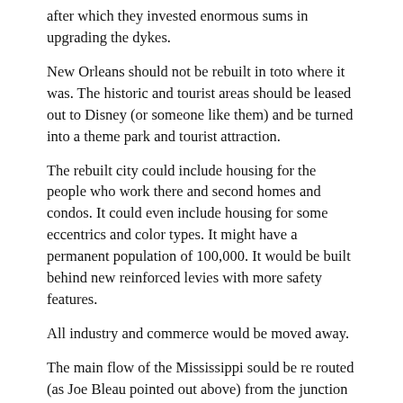after which they invested enormous sums in upgrading the dykes.
New Orleans should not be rebuilt in toto where it was. The historic and tourist areas should be leased out to Disney (or someone like them) and be turned into a theme park and tourist attraction.
The rebuilt city could include housing for the people who work there and second homes and condos. It could even include housing for some eccentrics and color types. It might have a permanent population of 100,000. It would be built behind new reinforced levies with more safety features.
All industry and commerce would be moved away.
The main flow of the Mississippi sould be re routed (as Joe Bleau pointed out above) from the junction with the Red River down the Atchafalaya River into the Gulf. Petrochemical industries and shipping should be relocated to there or other suitable locations on the Gulf.